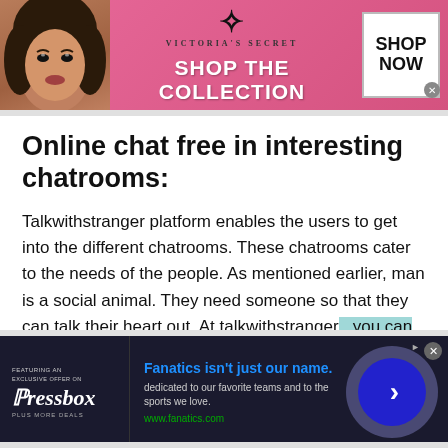[Figure (screenshot): Victoria's Secret advertisement banner with pink background, woman model on left, VS logo, 'SHOP THE COLLECTION' text, and 'SHOP NOW' button on right]
Online chat free in interesting chatrooms:
Talkwithstranger platform enables the users to get into the different chatrooms. These chatrooms cater to the needs of the people. As mentioned earlier, man is a social animal. They need someone so that they can talk their heart out. At talkwithstranger , you can chat with people of Fiji from anywhere in the
[Figure (screenshot): Fanatics advertisement banner with dark background, Pressbox logo on left, 'Fanatics isn't just our name.' headline in blue, description text, www.fanatics.com URL, and blue circle arrow button on right]